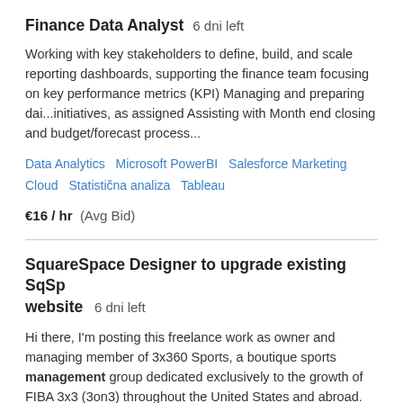Finance Data Analyst  6 dni left
Working with key stakeholders to define, build, and scale reporting dashboards, supporting the finance team focusing on key performance metrics (KPI) Managing and preparing dai...initiatives, as assigned Assisting with Month end closing and budget/forecast process...
Data Analytics  Microsoft PowerBI  Salesforce Marketing Cloud  Statistična analiza  Tableau
€16 / hr  (Avg Bid)
SquareSpace Designer to upgrade existing SqSp website  6 dni left
Hi there, I'm posting this freelance work as owner and managing member of 3x360 Sports, a boutique sports management group dedicated exclusively to the growth of FIBA 3x3 (3on3) throughout the United States and abroad. FIBA 3x3 basketball is the world's number one...